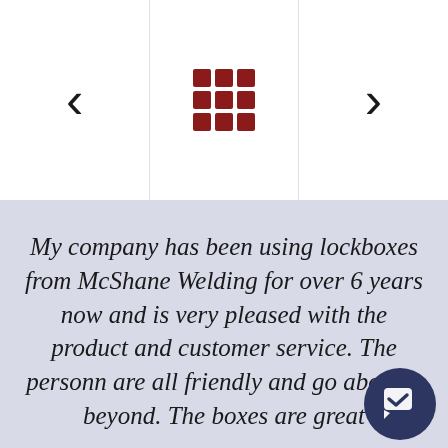[Figure (screenshot): Navigation UI with left arrow, 3x3 dark red grid icon in center, and right arrow. White background with vertical dividers separating three columns.]
My company has been using lockboxes from McShane Welding for over 6 years now and is very pleased with the product and customer service. The personn are all friendly and go above a beyond. The boxes are great